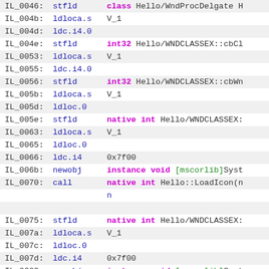IL_0046: stfld   class Hello/WndProcDelgate H...
IL_004b: ldloca.s   V_1
IL_004d: ldc.i4.0
IL_004e: stfld   int32 Hello/WNDCLASSEX::cbCl...
IL_0053: ldloca.s   V_1
IL_0055: ldc.i4.0
IL_0056: stfld   int32 Hello/WNDCLASSEX::cbWn...
IL_005b: ldloca.s   V_1
IL_005d: ldloc.0
IL_005e: stfld   native int Hello/WNDCLASSEX:...
IL_0063: ldloca.s   V_1
IL_0065: ldloc.0
IL_0066: ldc.i4   0x7f00
IL_006b: newobj   instance void [mscorlib]Syst...
IL_0070: call   native int Hello::LoadIcon(n...
n
IL_0075: stfld   native int Hello/WNDCLASSEX:...
IL_007a: ldloca.s   V_1
IL_007c: ldloc.0
IL_007d: ldc.i4   0x7f00
IL_0082: newobj   instance void [mscorlib]Syst...
IL_0087: call   native int Hello::LoadIcon(n...
n
IL_008c: stfld   native int Hello/WNDCLASSEX:...
IL_0091: ldloca.s   V_1
IL_0093: ldc.i4.6
IL_0094: conv.i8
IL_0095: newobj   instance void [mscorlib]Sys...